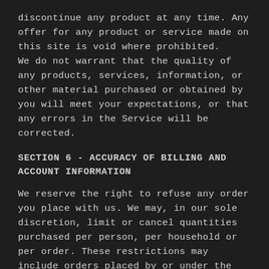discontinue any product at any time. Any offer for any product or service made on this site is void where prohibited.
We do not warrant that the quality of any products, services, information, or other material purchased or obtained by you will meet your expectations, or that any errors in the Service will be corrected.
SECTION 6 - ACCURACY OF BILLING AND ACCOUNT INFORMATION
We reserve the right to refuse any order you place with us. We may, in our sole discretion, limit or cancel quantities purchased per person, per household or per order. These restrictions may include orders placed by or under the same customer account, the same credit card, and/or orders that use the same billing and/or